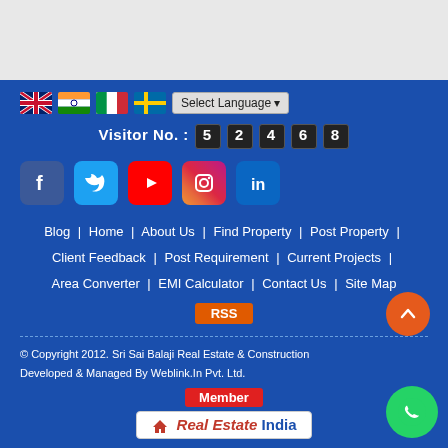[Figure (screenshot): Top gray header area (website header, partially visible)]
Select Language
Visitor No. : 52468
[Figure (illustration): Social media icons: Facebook, Twitter, YouTube, Instagram, LinkedIn]
Blog | Home | About Us | Find Property | Post Property | Client Feedback | Post Requirement | Current Projects | Area Converter | EMI Calculator | Contact Us | Site Map
RSS
© Copyright 2012. Sri Sai Balaji Real Estate & Construction
Developed & Managed By Weblink.In Pvt. Ltd.
[Figure (logo): Member badge and Real Estate India logo]
[Figure (illustration): Orange scroll-to-top button and WhatsApp green button]